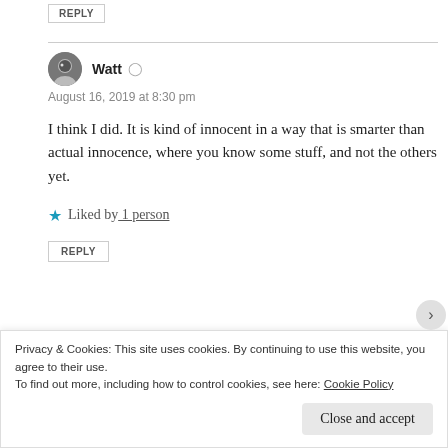REPLY
Watt
August 16, 2019 at 8:30 pm
I think I did. It is kind of innocent in a way that is smarter than actual innocence, where you know some stuff, and not the others yet.
Liked by 1 person
REPLY
Privacy & Cookies: This site uses cookies. By continuing to use this website, you agree to their use. To find out more, including how to control cookies, see here: Cookie Policy
Close and accept